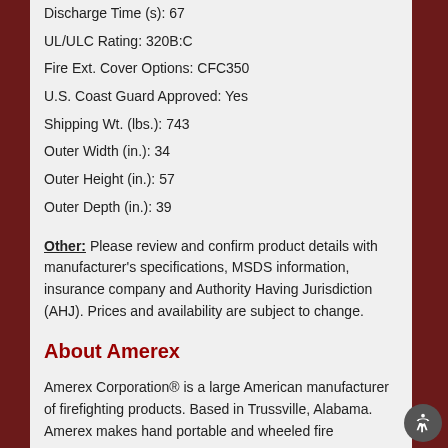Discharge Time (s): 67
UL/ULC Rating: 320B:C
Fire Ext. Cover Options: CFC350
U.S. Coast Guard Approved: Yes
Shipping Wt. (lbs.): 743
Outer Width (in.): 34
Outer Height (in.): 57
Outer Depth (in.): 39
Other: Please review and confirm product details with manufacturer's specifications, MSDS information, insurance company and Authority Having Jurisdiction (AHJ). Prices and availability are subject to change.
About Amerex
Amerex Corporation® is a large American manufacturer of firefighting products. Based in Trussville, Alabama. Amerex makes hand portable and wheeled fire